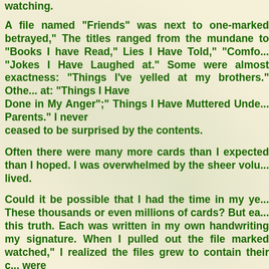watching.
A file named "Friends" was next to one-marked betrayed," The titles ranged from the mundane to "Books I have Read," Lies I Have Told," "Comfo... "Jokes I Have Laughed at." Some were almost exactness: "Things I've yelled at my brothers." Othe... at: "Things I Have Done in My Anger"," Things I Have Muttered Unde... Parents." I never ceased to be surprised by the contents.
Often there were many more cards than I expected than I hoped. I was overwhelmed by the sheer volu... lived.
Could it be possible that I had the time in my ye... These thousands or even millions of cards? But ea... this truth. Each was written in my own handwriting my signature. When I pulled out the file marked watched," I realized the files grew to contain their c... were